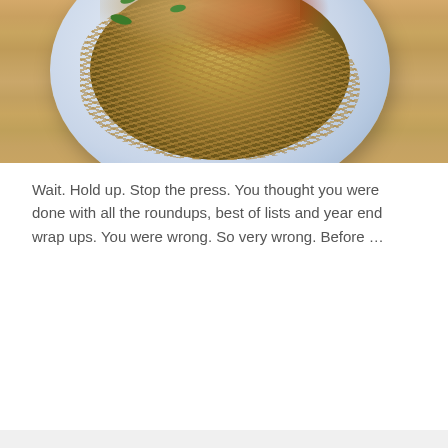[Figure (photo): Overhead view of a bowl of Asian noodles (possibly pad thai or similar), topped with crushed peanuts, red chili powder/spices, and green vegetables, served in a white/blue plate on a wooden table surface.]
Wait. Hold up. Stop the press. You thought you were done with all the roundups, best of lists and year end wrap ups. You were wrong. So very wrong. Before …
READ MORE